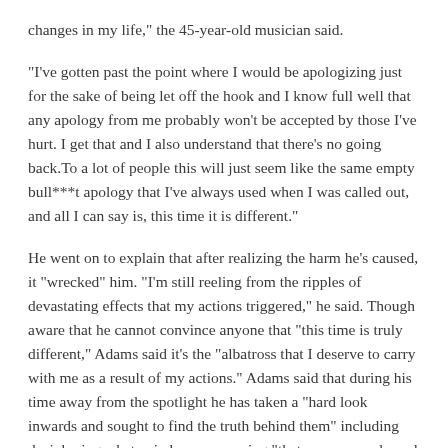changes in my life," the 45-year-old musician said.
"I've gotten past the point where I would be apologizing just for the sake of being let off the hook and I know full well that any apology from me probably won't be accepted by those I've hurt. I get that and I also understand that there's no going back.To a lot of people this will just seem like the same empty bull***t apology that I've always used when I was called out, and all I can say is, this time it is different."
He went on to explain that after realizing the harm he's caused, it "wrecked" him. "I'm still reeling from the ripples of devastating effects that my actions triggered," he said. Though aware that he cannot convince anyone that "this time is truly different," Adams said it's the "albatross that I deserve to carry with me as a result of my actions." Adams said that during his time away from the spotlight he has taken a "hard look inwards and sought to find the truth behind them" including deciphering what pain he was carrying "that was so poorly and wrongly being projected onto